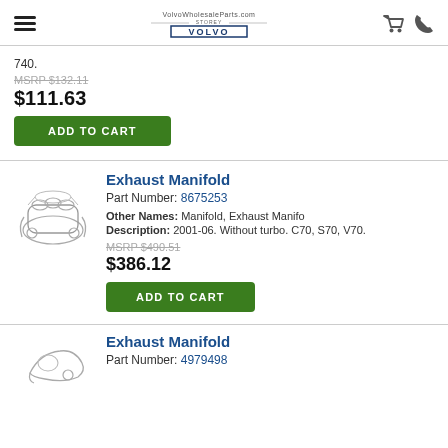VolvoWholesaleParts.com | Storey Volvo Cars
740.
MSRP $132.11
$111.63
ADD TO CART
[Figure (illustration): Exhaust manifold part illustration, line drawing]
Exhaust Manifold
Part Number: 8675253
Other Names: Manifold, Exhaust Manifo
Description: 2001-06. Without turbo. C70, S70, V70.
MSRP $490.51
$386.12
ADD TO CART
[Figure (illustration): Exhaust manifold part illustration, line drawing, partial view]
Exhaust Manifold
Part Number: 4979498